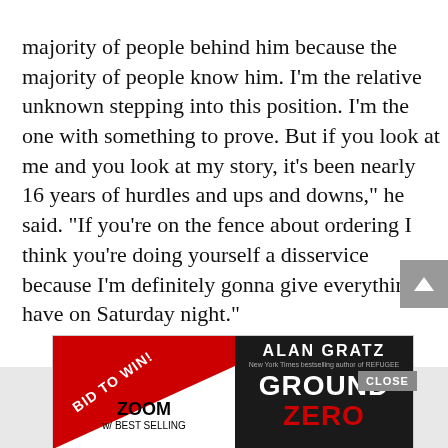majority of people behind him because the majority of people know him. I'm the relative unknown stepping into this position. I'm the one with something to prove. But if you look at me and you look at my story, it's been nearly 16 years of hurdles and ups and downs," he said. "If you're on the fence about ordering I think you're doing yourself a disservice because I'm definitely gonna give everything I have on Saturday night."
[Figure (screenshot): Advertisement banner with two panels. Left panel has red diagonal stripe with 'BID TO WIN!' text, ZOOM logo, and 'w/ BEST SELLING' text. Right panel has dark background with 'ALAN GRATZ' author name and 'GROUND ZERO' book title with CLOSE button overlay.]